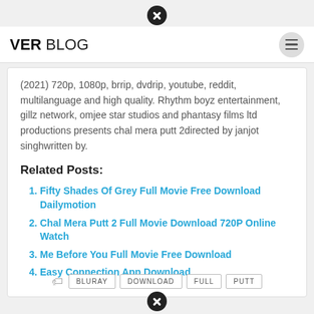VER BLOG
(2021) 720p, 1080p, brrip, dvdrip, youtube, reddit, multilanguage and high quality. Rhythm boyz entertainment, gillz network, omjee star studios and phantasy films ltd productions presents chal mera putt 2directed by janjot singhwritten by.
Related Posts:
Fifty Shades Of Grey Full Movie Free Download Dailymotion
Chal Mera Putt 2 Full Movie Download 720P Online Watch
Me Before You Full Movie Free Download
Easy Connection App Download
BLURAY  DOWNLOAD  FULL  PUTT